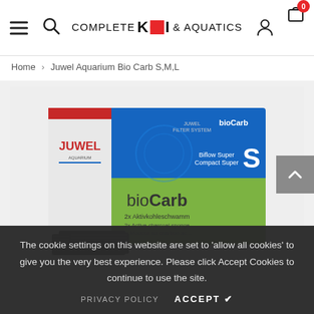Complete KOI & AQUATICS — navigation header with hamburger menu, search, user icon, cart (0)
Home > Juwel Aquarium Bio Carb S,M,L
[Figure (photo): Product photo of Juwel Aquarium bioCarb S filter media box. Blue and green box showing 'bioCarb' branding with activated carbon sponges in front. Text on box: JUWEL FILTER SYSTEM, Biflow Super Compact Super S, bioCarb, 2x Aktivkohleschwamm, 2x Active charcoal sponge, 2x Mousse au charbon ac.]
The cookie settings on this website are set to 'allow all cookies' to give you the very best experience. Please click Accept Cookies to continue to use the site.
PRIVACY POLICY    ACCEPT ✔